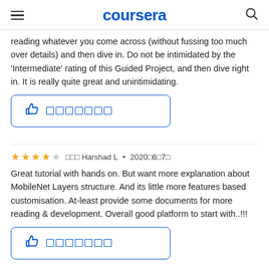coursera
reading whatever you come across (without fussing too much over details) and then dive in. Do not be intimidated by the 'Intermediate' rating of this Guided Project, and then dive right in. It is really quite great and unintimidating.
[Figure (other): Thumbs up helpful button with blue border and square icon placeholders]
Great tutorial with hands on. But want more explanation about MobileNet Layers structure. And its little more features based customisation. At-least provide some documents for more reading & development. Overall good platform to start with..!!!
[Figure (other): Thumbs up helpful button with blue border and square icon placeholders]